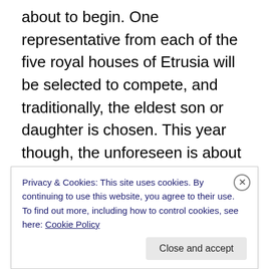about to begin. One representative from each of the five royal houses of Etrusia will be selected to compete, and traditionally, the eldest son or daughter is chosen. This year though, the unforeseen is about to happen. Emilia of the Aurun hides her ability to wield chaos magic which would spell a death sentence for her. Lucian of the Sabel has had enough of war and death and has vowed to never lift a sword again. Vespir, who is chosen for the Pentri, is not even of the family, and is their dragon trainer, but these might be the very skills that will keep her alive the challenges to come. Bastard born Ajax of the Tiber is
Privacy & Cookies: This site uses cookies. By continuing to use this website, you agree to their use.
To find out more, including how to control cookies, see here: Cookie Policy